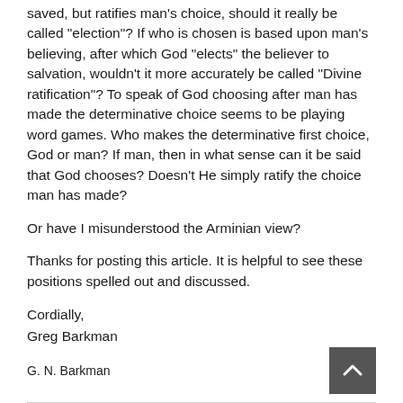saved, but ratifies man's choice, should it really be called "election"? If who is chosen is based upon man's believing, after which God "elects" the believer to salvation, wouldn't it more accurately be called "Divine ratification"? To speak of God choosing after man has made the determinative choice seems to be playing word games. Who makes the determinative first choice, God or man? If man, then in what sense can it be said that God chooses? Doesn't He simply ratify the choice man has made?
Or have I misunderstood the Arminian view?
Thanks for posting this article. It is helpful to see these positions spelled out and discussed.
Cordially,
Greg Barkman
G. N. Barkman